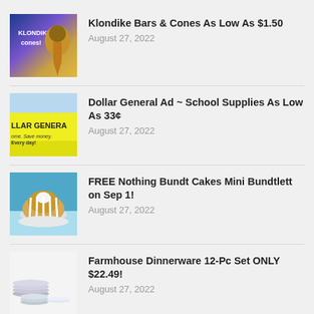Klondike Bars & Cones As Low As $1.50
August 27, 2022
Dollar General Ad ~ School Supplies As Low As 33¢
August 27, 2022
FREE Nothing Bundt Cakes Mini Bundtlett on Sep 1!
August 27, 2022
Farmhouse Dinnerware 12-Pc Set ONLY $22.49!
August 27, 2022